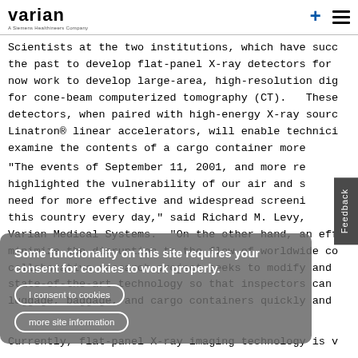varian - A Siemens Healthineers Company
Scientists at the two institutions, which have succeeded in the past to develop flat-panel X-ray detectors for now work to develop large-area, high-resolution dig for cone-beam computerized tomography (CT). These detectors, when paired with high-energy X-ray sourc Linatron® linear accelerators, will enable technici examine the contents of a cargo container more
"The events of September 11, 2001, and more re highlighted the vulnerability of our air and s need for more effective and widespread screeni this country every day," said Richard M. Levy, Varian Medical Systems. "On the other hand, an eff minimize the disruption to the flow of worldwide co collaborative research project seeks to modify and state-of-the-art technology so that inspectors can luggage, baggage, and cargo containers quickly and
Currently, flat-panel X-ray imaging technology is v
[Figure (other): Cookie consent overlay with title 'Some functionality on this site requires your consent for cookies to work properly.' and buttons 'I consent to cookies' and 'more site information']
Feedback tab on right side of page